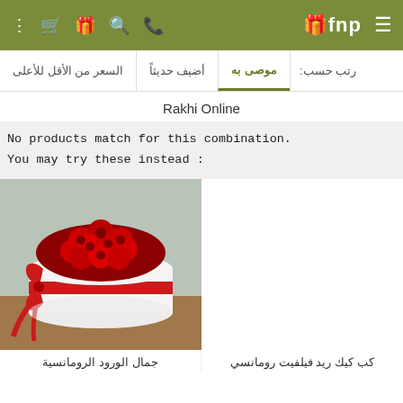fnp navigation bar with cart, gift, search, phone icons and menu
رتب حسب: موصى به | أضيف حديثاً | السعر من الأقل للأعلى
Rakhi Online
No products match for this combination.
You may try these instead :
[Figure (photo): Round white hatbox filled with red roses, tied with a red ribbon and bow, placed on a wooden surface]
[Figure (photo): Second product image (partially visible, blank/white area)]
جمال الورود الرومانسية
كب كيك ريد فيلفيت رومانسي